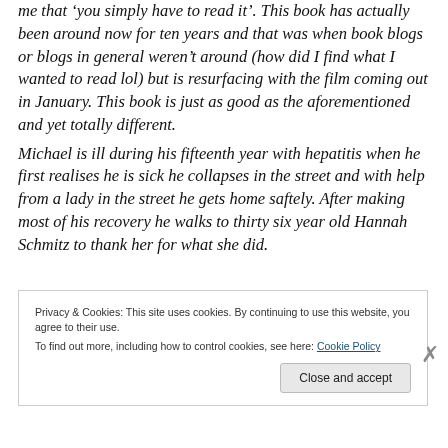me that 'you simply have to read it'. This book has actually been around now for ten years and that was when book blogs or blogs in general weren't around (how did I find what I wanted to read lol) but is resurfacing with the film coming out in January. This book is just as good as the aforementioned and yet totally different. Michael is ill during his fifteenth year with hepatitis when he first realises he is sick he collapses in the street and with help from a lady in the street he gets home saftely. After making most of his recovery he walks to thirty six year old Hannah Schmitz to thank her for what she did.
Privacy & Cookies: This site uses cookies. By continuing to use this website, you agree to their use.
To find out more, including how to control cookies, see here: Cookie Policy